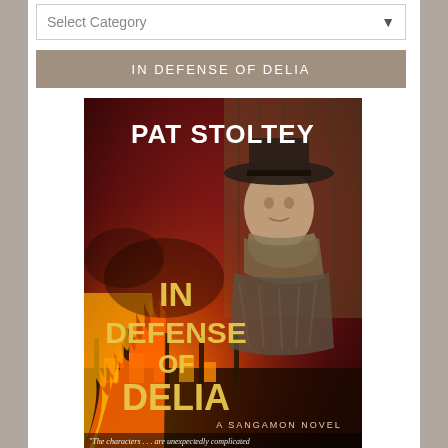Select Category
IN DEFENSE OF DELIA
[Figure (illustration): Book cover for 'In Defense of Delia' by Pat Stoltey. A Sangamon Novel. Shows a woman in a wide-brimmed hat with a scarf, against a dramatic background of fire and flames engulfing a building. Large stylized text reads 'In Defense of Delia'. Tagline at bottom: 'The characters... are unexpectedly complicated']